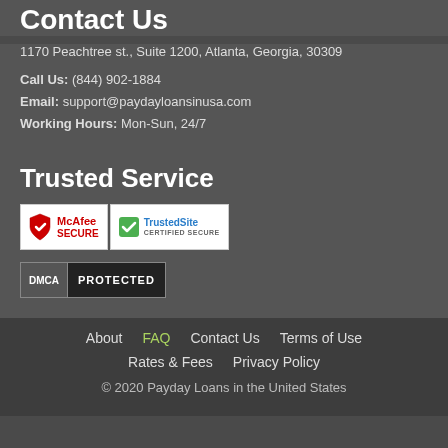Contact Us
1170 Peachtree st., Suite 1200, Atlanta, Georgia, 30309
Call Us: (844) 902-1884
Email: support@paydayloansinusa.com
Working Hours: Mon-Sun, 24/7
Trusted Service
[Figure (logo): McAfee SECURE and TrustedSite Certified Secure badges side by side]
[Figure (logo): DMCA Protected badge]
About   FAQ   Contact Us   Terms of Use   Rates & Fees   Privacy Policy
© 2020 Payday Loans in the United States